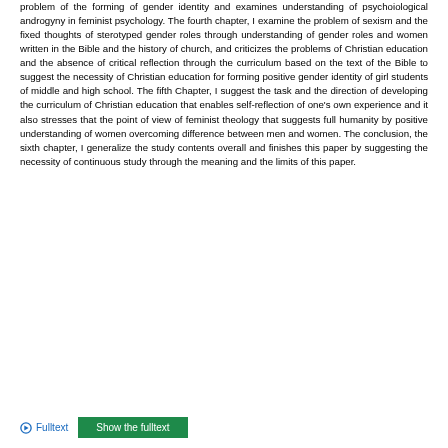problem of the forming of gender identity and examines understanding of psychoiological androgyny in feminist psychology. The fourth chapter, I examine the problem of sexism and the fixed thoughts of sterotyped gender roles through understanding of gender roles and women written in the Bible and the history of church, and criticizes the problems of Christian education and the absence of critical reflection through the curriculum based on the text of the Bible to suggest the necessity of Christian education for forming positive gender identity of girl students of middle and high school. The fifth Chapter, I suggest the task and the direction of developing the curriculum of Christian education that enables self-reflection of one's own experience and it also stresses that the point of view of feminist theology that suggests full humanity by positive understanding of women overcoming difference between men and women. The conclusion, the sixth chapter, I generalize the study contents overall and finishes this paper by suggesting the necessity of continuous study through the meaning and the limits of this paper.
Fulltext   Show the fulltext